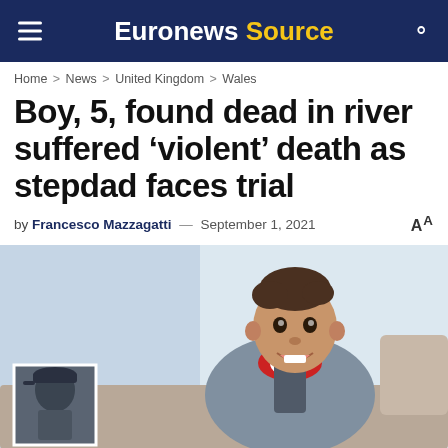Euronews Source
Home > News > United Kingdom > Wales
Boy, 5, found dead in river suffered ‘violent’ death as stepdad faces trial
by Francesco Mazzagatti — September 1, 2021 AA
[Figure (photo): Smiling young boy of around 5 years old wearing a grey zip-up hoodie with a red and white collar, sitting on a beige sofa. There is a smaller inset photo in the bottom-left corner showing a person wearing a baseball cap.]